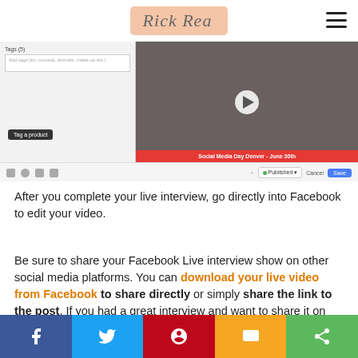Rick Rea
[Figure (screenshot): Screenshot of Facebook video posting interface showing a video with a woman, Social Media Day Denver - June 30th caption, tags field, Tag a product button, and Published/Save controls]
After you complete your live interview, go directly into Facebook to edit your video.
Be sure to share your Facebook Live interview show on other social media platforms. You can download your live video from Facebook to share directly or simply share the link to the post. If you had a great interview and want to share it on other social media platforms, repurpose your Facebook Live video after...
f  Twitter  Pinterest  SMS  Share